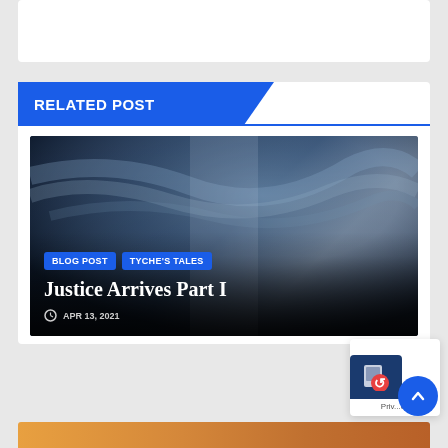RELATED POST
[Figure (photo): Blindfolded woman in white robes holding a sword and scales of justice against a dramatic stormy blue sky background. Overlaid text labels: BLOG POST, TYCHE'S TALES category tags; title 'Justice Arrives Part I'; date 'APR 13, 2021']
[Figure (photo): Bottom orange/amber gradient image strip partially visible at bottom of page]